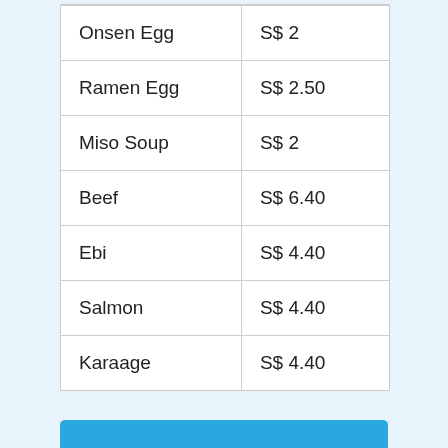| Item | Price |
| --- | --- |
| Onsen Egg | S$ 2 |
| Ramen Egg | S$ 2.50 |
| Miso Soup | S$ 2 |
| Beef | S$ 6.40 |
| Ebi | S$ 4.40 |
| Salmon | S$ 4.40 |
| Karaage | S$ 4.40 |